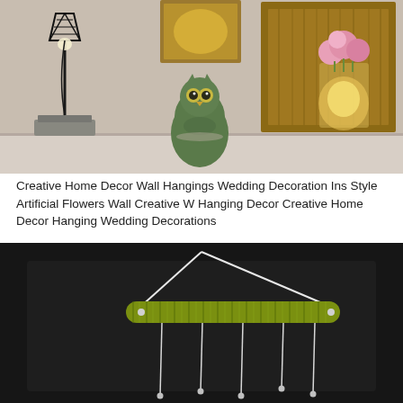[Figure (photo): Interior decor shelf scene with a black geometric cage table lamp with Edison bulb on a concrete base, a green ceramic owl figurine, and a wooden box with warm fairy lights and pink flowers in a mason jar, against a light gray wall with a warmly lit wooden wall art piece.]
Creative Home Decor Wall Hangings Wedding Decoration Ins Style Artificial Flowers Wall Creative W Hanging Decor Creative Home Decor Hanging Wedding Decorations
[Figure (photo): A DIY wall hanging craft component on a dark background: a horizontal rod wrapped in olive/yellow-green wire/thread with white string tied at both ends forming a triangular hanger, and multiple white strings hanging down from the rod with small beads at the bottom.]